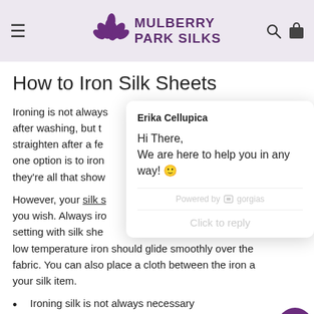MULBERRY PARK SILKS
How to Iron Silk Sheets
Ironing is not always after washing, but straighten after a few one option is to iron they're all that show
However, your silk s you wish. Always iro setting with silk she low temperature iron should glide smoothly over the fabric. You can also place a cloth between the iron and your silk item.
[Figure (screenshot): Chat popup from Erika Cellupica: 'Hi There, We are here to help you in any way! 😊'. Powered by gorgias. Click to reply.]
Ironing silk is not always necessary
Consider just ironing silk pillowcases (if needed)